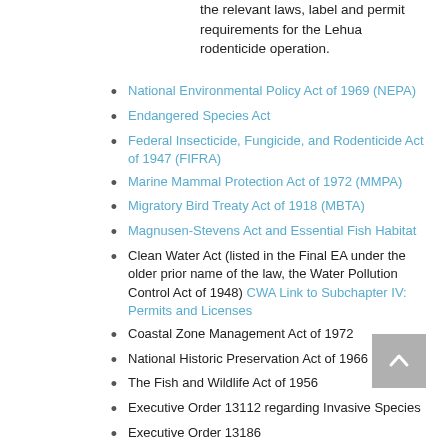the relevant laws, label and permit requirements for the Lehua rodenticide operation.
National Environmental Policy Act of 1969 (NEPA)
Endangered Species Act
Federal Insecticide, Fungicide, and Rodenticide Act of 1947 (FIFRA)
Marine Mammal Protection Act of 1972 (MMPA)
Migratory Bird Treaty Act of 1918 (MBTA)
Magnusen-Stevens Act and Essential Fish Habitat
Clean Water Act (listed in the Final EA under the older prior name of the law, the Water Pollution Control Act of 1948) CWA Link to Subchapter IV: Permits and Licenses
Coastal Zone Management Act of 1972
National Historic Preservation Act of 1966 (NHPA)
The Fish and Wildlife Act of 1956
Executive Order 13112 regarding Invasive Species
Executive Order 13186